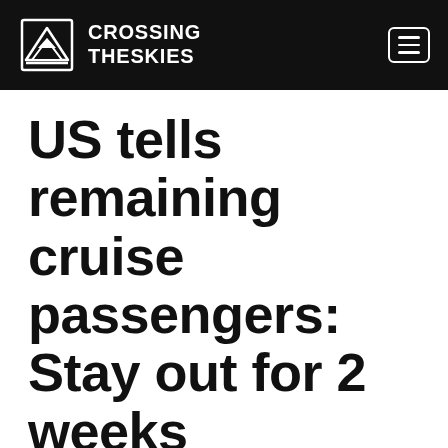CROSSING THESKIES
US tells remaining cruise passengers: Stay out for 2 weeks
May 25, 2012 by 6yoo9
The U.S. government made good on its